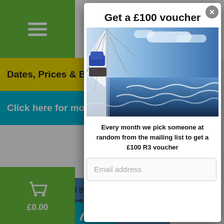[Figure (screenshot): Website background showing green hamburger menu, yellow navigation bar with 'Dates, Prices & Bo', cyan bar with 'Click here for more', and a small sailing photo]
[Figure (screenshot): Modal popup overlay with close button, title 'Get a £100 voucher', sailing boat photo, body text about mailing list voucher, and email address input field]
Get a £100 voucher
[Figure (photo): Sailing boat deck photo with rigging, sails, blue sky and rough sea]
Every month we pick someone at random from the mailing list to get a £100 R3 voucher
Email address
Dates, Prices & Bo
Click here for more
£0.00
l the 3,500n
venture of a l
Ac